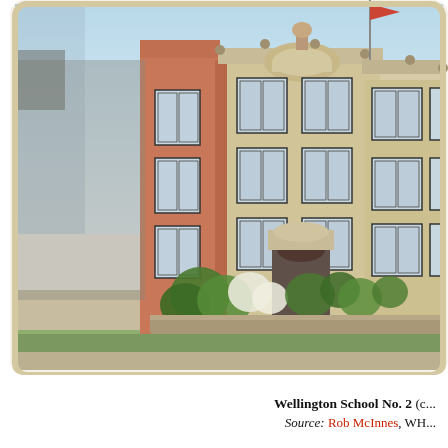[Figure (photo): Vintage colorized postcard photograph of Wellington School No. 2, showing a large multi-story brick and stone school building with arched entrance, multiple windows, decorative roofline with ornamental balls, a flag on top, and trees/shrubs in the foreground. Sky is light blue. The image is cropped showing mainly the right and center facade of the building.]
Wellington School No. 2 (c... Source: Rob McInnes, WH...